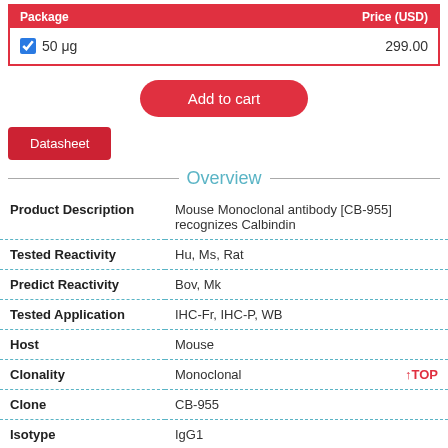| Package | Price (USD) |
| --- | --- |
| ☑ 50 μg | 299.00 |
Add to cart
Datasheet
Overview
| Field | Value |
| --- | --- |
| Product Description | Mouse Monoclonal antibody [CB-955] recognizes Calbindin |
| Tested Reactivity | Hu, Ms, Rat |
| Predict Reactivity | Bov, Mk |
| Tested Application | IHC-Fr, IHC-P, WB |
| Host | Mouse |
| Clonality | Monoclonal |
| Clone | CB-955 |
| Isotype | IgG1 |